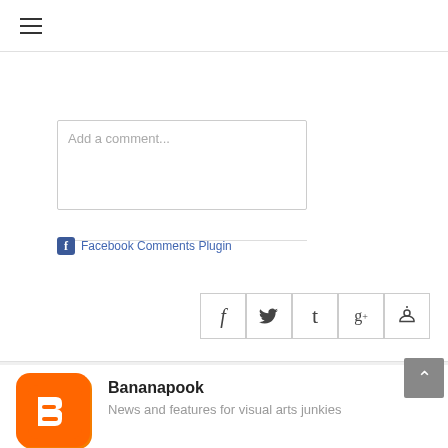☰
[Figure (screenshot): Comment text area with placeholder 'Add a comment...']
Facebook Comments Plugin
[Figure (infographic): Social share icon buttons: Facebook (f), Twitter, Tumblr, Google+, Pinterest]
[Figure (logo): Blogger orange logo icon]
Bananapook
News and features for visual arts junkies